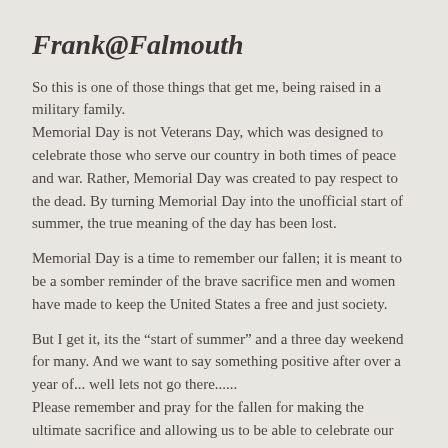Frank@Falmouth
So this is one of those things that get me, being raised in a military family.
Memorial Day is not Veterans Day, which was designed to celebrate those who serve our country in both times of peace and war. Rather, Memorial Day was created to pay respect to the dead. By turning Memorial Day into the unofficial start of summer, the true meaning of the day has been lost.
Memorial Day is a time to remember our fallen; it is meant to be a somber reminder of the brave sacrifice men and women have made to keep the United States a free and just society.
But I get it, its the “start of summer” and a three day weekend for many. And we want to say something positive after over a year of... well lets not go there......
Please remember and pray for the fallen for making the ultimate sacrifice and allowing us to be able to celebrate our lives and country daily. God bless us, our Country and WoodyBoaters everywhere!!